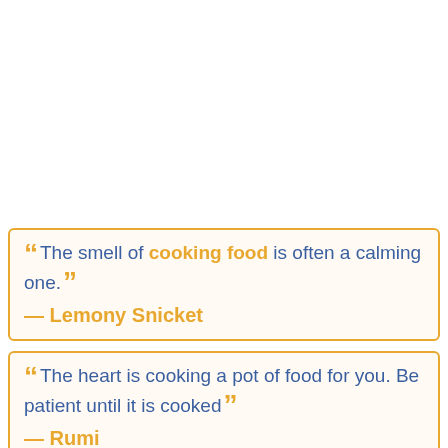“The smell of cooking food is often a calming one.” — Lemony Snicket
“The heart is cooking a pot of food for you. Be patient until it is cooked” — Rumi
“You have to balance, but you can be aggressive as a chef. It benefits the food. You have to be passionate